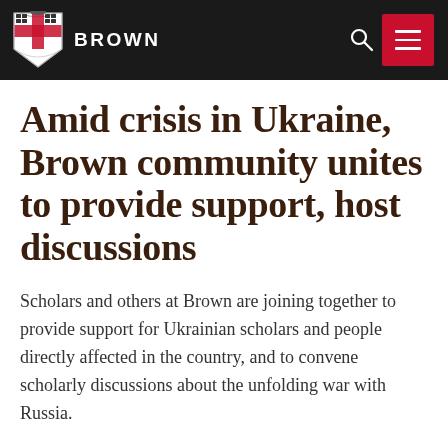BROWN
Amid crisis in Ukraine, Brown community unites to provide support, host discussions
Scholars and others at Brown are joining together to provide support for Ukrainian scholars and people directly affected in the country, and to convene scholarly discussions about the unfolding war with Russia.